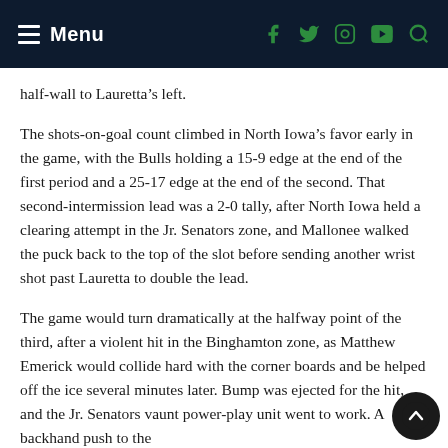Menu
half-wall to Lauretta’s left.
The shots-on-goal count climbed in North Iowa’s favor early in the game, with the Bulls holding a 15-9 edge at the end of the first period and a 25-17 edge at the end of the second. That second-intermission lead was a 2-0 tally, after North Iowa held a clearing attempt in the Jr. Senators zone, and Mallonee walked the puck back to the top of the slot before sending another wrist shot past Lauretta to double the lead.
The game would turn dramatically at the halfway point of the third, after a violent hit in the Binghamton zone, as Matthew Emerick would collide hard with the corner boards and be helped off the ice several minutes later. Bump was ejected for the hit, and the Jr. Senators vaunt power-play unit went to work. A backhand push to the